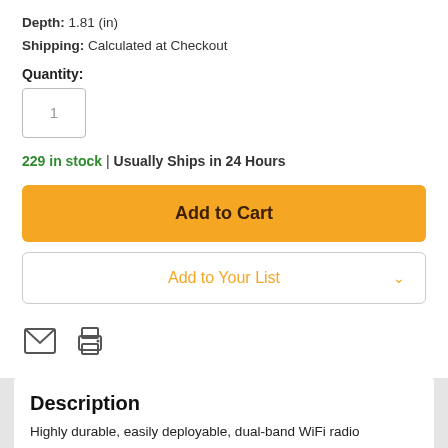Depth: 1.81 (in)
Shipping: Calculated at Checkout
Quantity:
1
229 in stock | Usually Ships in 24 Hours
Add to Cart
Add to Your List
[Figure (illustration): Email (envelope) icon and print (printer) icons]
Description
Highly durable, easily deployable, dual-band WiFi radio